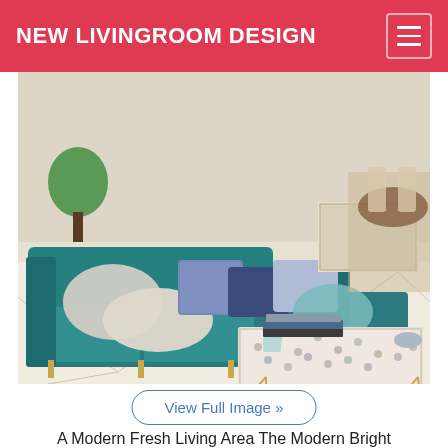NEW LIVINGROOM DESIGN
[Figure (photo): A modern living room with a teal sectional sofa with decorative pillows, a patterned coffee table with gold metal frame, a cream geometric-patterned area rug, and a dining area visible in the background.]
View Full Image »
A Modern Fresh Living Area The Modern Bright